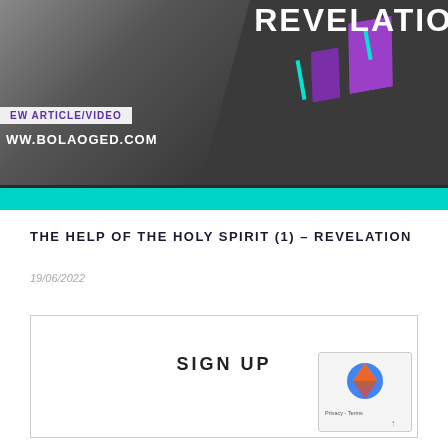[Figure (screenshot): Website banner for bolaoged.com featuring the word REVELATION in white bold text, with purple geometric shapes, teal accent lines, a dark background with a hand holding a book, a white tag reading 'NEW ARTICLE/VIDEO', the URL 'WWW.BOLAOGED.COM' in white, and a teal bar at the bottom.]
THE HELP OF THE HOLY SPIRIT (1) – REVELATION
19/06/2022
SIGN UP